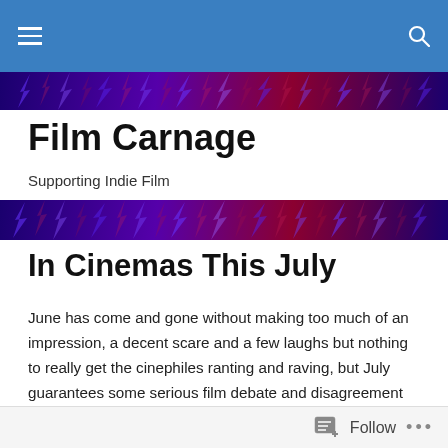Film Carnage — navigation bar
[Figure (illustration): Decorative purple and red abstract lightning/zigzag pattern banner strip (top)]
Film Carnage
Supporting Indie Film
[Figure (illustration): Decorative purple and red abstract lightning/zigzag pattern banner strip (middle)]
In Cinemas This July
June has come and gone without making too much of an impression, a decent scare and a few laughs but nothing to really get the cinephiles ranting and raving, but July guarantees some serious film debate and disagreement with the film some love to hate (without even seeing it) Paul Feig's Ghostbusters reboot and the long awaited
Follow •••